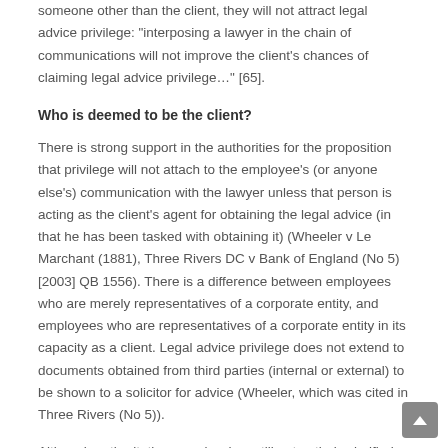communications are between the lawyer and someone other than the client, they will not attract legal advice privilege: "interposing a lawyer in the chain of communications will not improve the client's chances of claiming legal advice privilege..." [65].
Who is deemed to be the client?
There is strong support in the authorities for the proposition that privilege will not attach to the employee's (or anyone else's) communication with the lawyer unless that person is acting as the client's agent for obtaining the legal advice (in that he has been tasked with obtaining it) (Wheeler v Le Marchant (1881), Three Rivers DC v Bank of England (No 5) [2003] QB 1556). There is a difference between employees who are merely representatives of a corporate entity, and employees who are representatives of a corporate entity in its capacity as a client. Legal advice privilege does not extend to documents obtained from third parties (internal or external) to be shown to a solicitor for advice (Wheeler, which was cited in Three Rivers (No 5)).
Although authoritative case law has still not entirely clarified the issue (as the House of Lords in Three